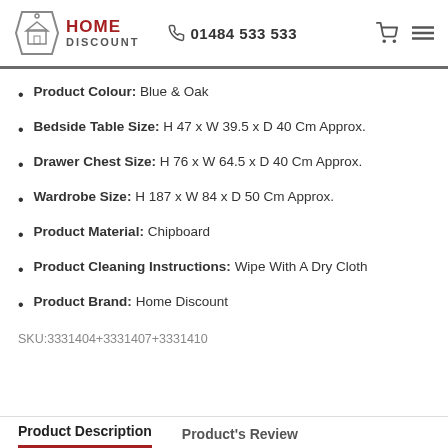Home Discount | 01484 533 533
Product Colour: Blue & Oak
Bedside Table Size: H 47 x W 39.5 x D 40 Cm Approx.
Drawer Chest Size: H 76 x W 64.5 x D 40 Cm Approx.
Wardrobe Size: H 187 x W 84 x D 50 Cm Approx.
Product Material: Chipboard
Product Cleaning Instructions: Wipe With A Dry Cloth
Product Brand: Home Discount
SKU:3331404+3331407+3331410
Product Description | Product's Review